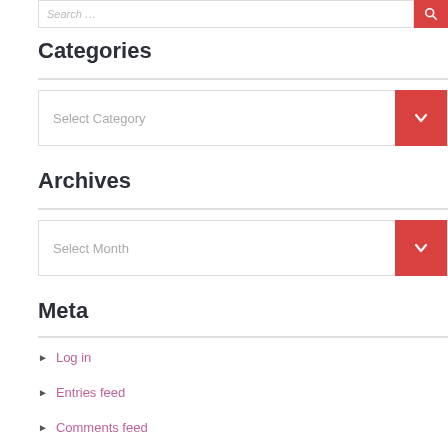[Figure (screenshot): Search input bar with red search button at top]
Categories
[Figure (screenshot): Select Category dropdown with red arrow button]
Archives
[Figure (screenshot): Select Month dropdown with red arrow button]
Meta
Log in
Entries feed
Comments feed